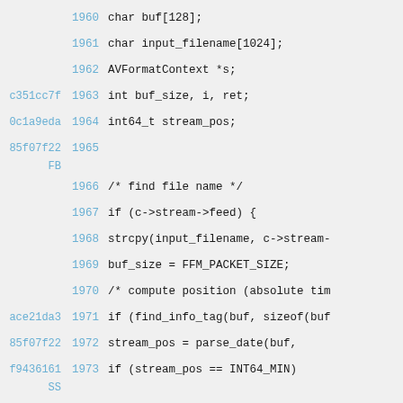1960    char buf[128];
1961    char input_filename[1024];
1962    AVFormatContext *s;
c351cc7f 1963    int buf_size, i, ret;
0c1a9eda 1964    int64_t stream_pos;
85f07f22 1965
FB
        1966    /* find file name */
        1967    if (c->stream->feed) {
        1968        strcpy(input_filename, c->stream-
        1969        buf_size = FFM_PACKET_SIZE;
        1970        /* compute position (absolute tim
ace21da3 1971        if (find_info_tag(buf, sizeof(buf
85f07f22 1972            stream_pos = parse_date(buf,
f9436161 1973            if (stream_pos == INT64_MIN)
SS
        1974                return -1;
ace21da3 1975    } else if (find_info_tag(buf, siz